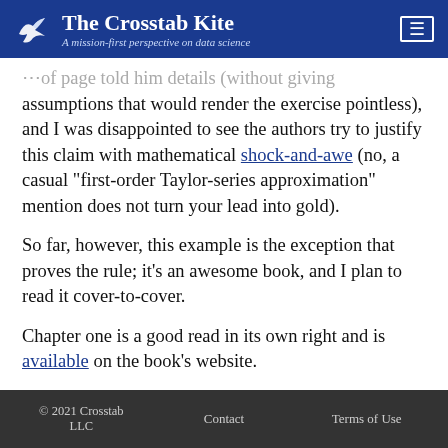The Crosstab Kite — A mission-first perspective on data science
...of page told him details (without giving assumptions that would render the exercise pointless), and I was disappointed to see the authors try to justify this claim with mathematical shock-and-awe (no, a casual "first-order Taylor-series approximation" mention does not turn your lead into gold).
So far, however, this example is the exception that proves the rule; it's an awesome book, and I plan to read it cover-to-cover.
Chapter one is a good read in its own right and is available on the book's website.
© 2021 Crosstab LLC   Contact   Terms of Use